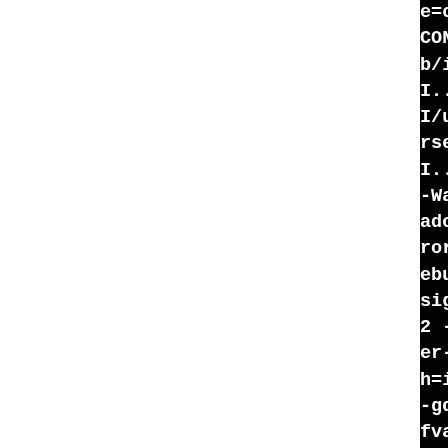[Figure (screenshot): Terminal/console output showing compiler command fragments in white monospace text on black background. The left portion of the page is white (blank), and the right portion shows truncated compiler command lines including flags like -I paths, -std=gnu99, -Wall, -Wextra, -Wformat-security, -O2, -fwrapv, -fstack-protector, -fasynchronous-unwind-tables, -gdwarf-4, -fno-debug-types-section, -fvar-tracking-assignments, -fvisibility=hidden, -MT, -MD, -MP, -MF, libtool compile commands, and -DHAVE_CONFIG_H flags.]